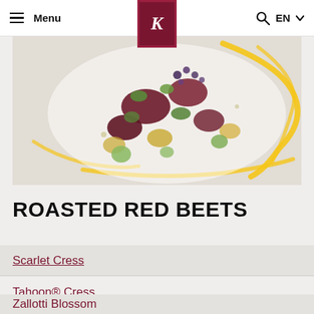Menu | K logo | Q EN
[Figure (photo): A gourmet plated dish of roasted red beets with scarlet cress, tahoon cress, and other garnishes on a white plate with yellow sauce drizzle]
ROASTED RED BEETS
Scarlet Cress
Tahoon® Cress
Zallotti Blossom